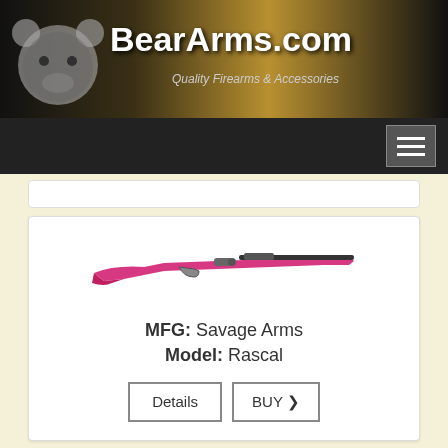BearArms.com — Quality Firearms & Accessories
[Figure (screenshot): BearArms.com website header with bear logo and site name]
[Figure (photo): Pink bolt-action rifle (Savage Arms Rascal)]
MFG: Savage Arms
Model: Rascal
Details | BUY
[Figure (photo): Purple bolt-action rifle (Savage Arms)]
MFG: Savage Arms